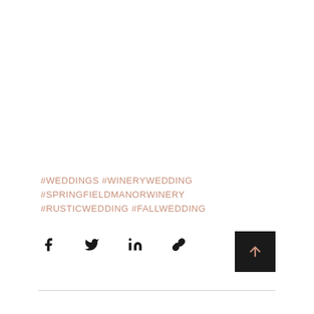#WEDDINGS #WINERYWEDDING #SPRINGFIELDMANORWINERY #RUSTICWEDDING #FALLWEDDING
[Figure (other): Social sharing icons: Facebook, Twitter, LinkedIn, Link/chain icon, and a dark scroll-to-top button with an upward arrow in rose/copper color]